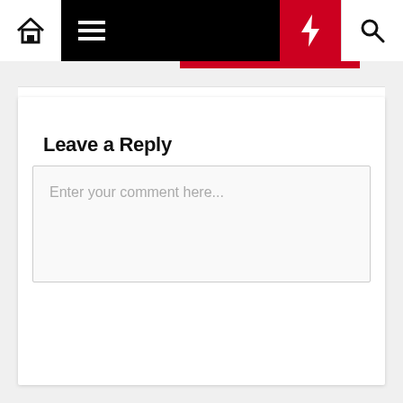[Figure (screenshot): Website navigation bar with home icon, hamburger menu, black spacer, red lightning bolt button, and search icon]
Leave a Reply
Enter your comment here...